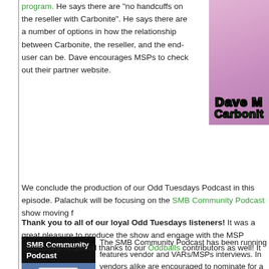program. He says there are "no handcuffs on the reseller with Carbonite". He says there are a number of options in how the relationship between Carbonite, the reseller, and the end-user can be. Dave encourages MSPs to check out their partner website.
[Figure (illustration): Dave M Carbonite logo/image in cartoon green bubbly font on pink/purple background]
We conclude the production of our Odd Tuesdays Podcast in this episode. Palachuk will be focusing on the SMB Community Podcast show moving f...
[Figure (photo): SMB Community Podcast image showing an ON AIR KARL sign on blue background]
The SMB Community Podcast has been running... features vendor and VARs/MSPs interviews. In... vendors alike are encouraged to nominate for a... the show. You can check out details on how to n...
SMB Community Podcast listeners can subscrib... Community Podcast RSS feed or listen to the sh...
Thank you to all of our loyal Odd Tuesdays listeners! It was a great pleasure to produce the show and engage with the MSP community. A special thanks to our Oddballs contributors as well! It...